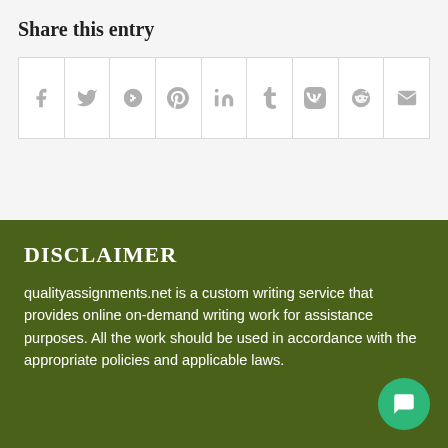Share this entry
[Figure (infographic): Social media share buttons row with icons for Facebook, Twitter, Google+, Pinterest, LinkedIn, Tumblr, VK, Reddit, and Email]
DISCLAIMER
qualityassignments.net is a custom writing service that provides online on-demand writing work for assistance purposes. All the work should be used in accordance with the appropriate policies and applicable laws.